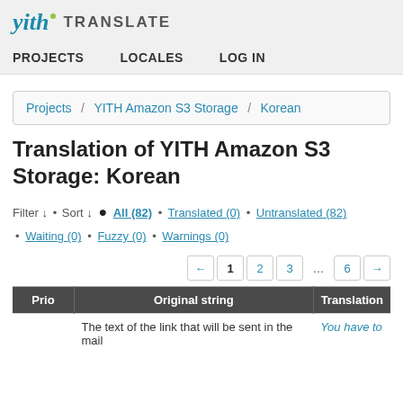yith TRANSLATE
PROJECTS   LOCALES   LOG IN
Projects / YITH Amazon S3 Storage / Korean
Translation of YITH Amazon S3 Storage: Korean
Filter ↓ • Sort ↓ ● All (82) • Translated (0) • Untranslated (82) • Waiting (0) • Fuzzy (0) • Warnings (0)
← 1 2 3 … 6 →
| Prio | Original string | Translation |
| --- | --- | --- |
|  | The text of the link that will be sent in the mail | You have to |